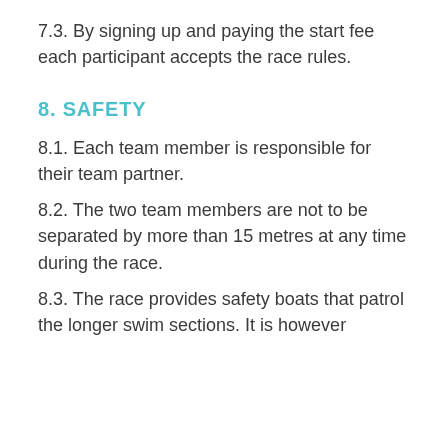7.3. By signing up and paying the start fee each participant accepts the race rules.
8. SAFETY
8.1. Each team member is responsible for their team partner.
8.2. The two team members are not to be separated by more than 15 metres at any time during the race.
8.3. The race provides safety boats that patrol the longer swim sections. It is however